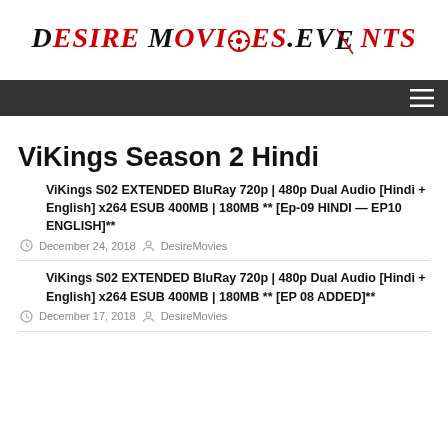DESIRE MOVIES.EVENTS
ViKings Season 2 Hindi
ViKings S02 EXTENDED BluRay 720p | 480p Dual Audio [Hindi + English] x264 ESUB 400MB | 180MB ** [Ep-09 HINDI — EP10 ENGLISH]**
December 24, 2018  DesireMovies
ViKings S02 EXTENDED BluRay 720p | 480p Dual Audio [Hindi + English] x264 ESUB 400MB | 180MB ** [EP 08 ADDED]**
December 17, 2018  DesireMovies